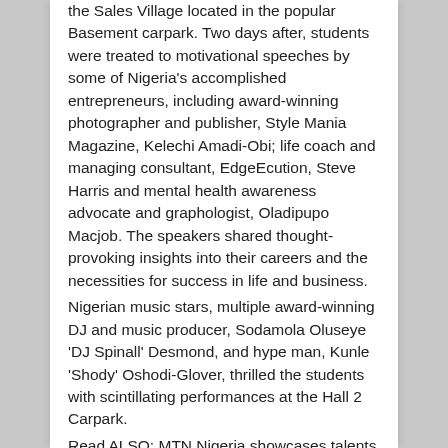the Sales Village located in the popular Basement carpark. Two days after, students were treated to motivational speeches by some of Nigeria's accomplished entrepreneurs, including award-winning photographer and publisher, Style Mania Magazine, Kelechi Amadi-Obi; life coach and managing consultant, EdgeEcution, Steve Harris and mental health awareness advocate and graphologist, Oladipupo Macjob. The speakers shared thought-provoking insights into their careers and the necessities for success in life and business.
Nigerian music stars, multiple award-winning DJ and music producer, Sodamola Oluseye 'DJ Spinall' Desmond, and hype man, Kunle 'Shody' Oshodi-Glover, thrilled the students with scintillating performances at the Hall 2 Carpark.
Read ALSO: MTN Nigeria showcases talents at 'Telco Hack Day'